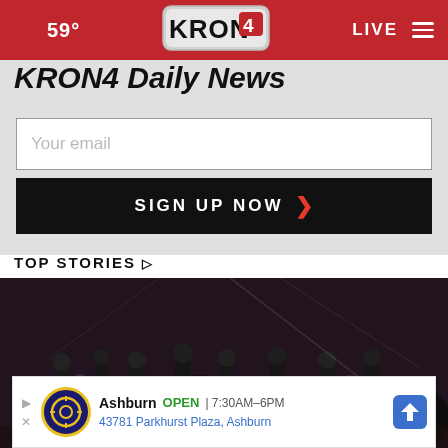59° KRON4 LIVE
KRON4 Daily News
Your email
SIGN UP NOW ›
TOP STORIES ›
[Figure (photo): Night time street scene with people and motorcycles, red lights visible, dark outdoor setting]
Ashburn  OPEN  | 7:30AM–6PM  43781 Parkhurst Plaza, Ashburn